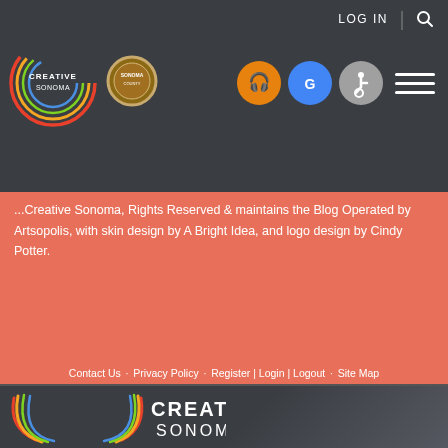LOG IN | [search icon]
[Figure (logo): Creative Sonoma circular logo with multicolor rings in header]
[Figure (logo): Sonoma County badge/seal circular icon]
[Figure (logo): Accessibility and translation icons: orange headphones, blue Google translate, gray accessibility, and hamburger menu]
...Creative Sonoma, Rights Reserved & maintains the Blog Operated by Artsopolis, with skin design by A Bright Idea, and logo design by Cindy Potter.
Contact Us  Privacy Policy  Register | Login | Logout  Site Map
[Figure (logo): Creative Sonoma large logo with multicolor arcs on dark gray footer background, white text CREATIVE SONOMA]